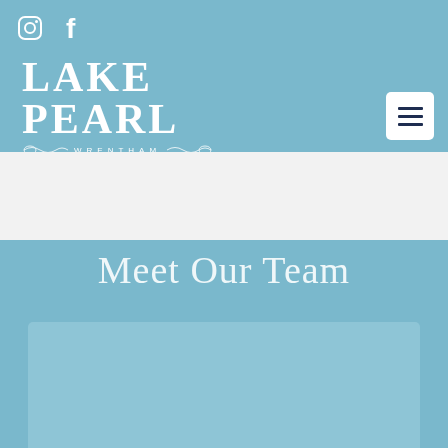[Figure (logo): Lake Pearl Wrentham logo with decorative ornamental border and text]
[Figure (illustration): Instagram icon (circle with camera outline) in white]
[Figure (illustration): Facebook icon (letter f) in white]
[Figure (illustration): Hamburger menu button (three horizontal lines) on white rounded rectangle background]
Meet Our Team
[Figure (photo): Team member photo placeholder, light blue rectangle card]